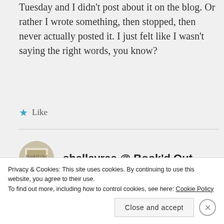Tuesday and I didn't post about it on the blog. Or rather I wrote something, then stopped, then never actually posted it. I just felt like I wasn't saying the right words, you know?
★ Like
shelleyrae @ Book'd Out
Privacy & Cookies: This site uses cookies. By continuing to use this website, you agree to their use. To find out more, including how to control cookies, see here: Cookie Policy
Close and accept